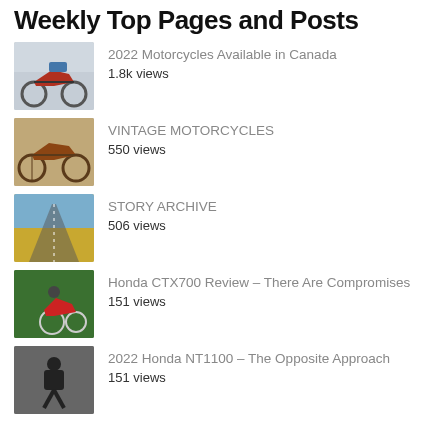Weekly Top Pages and Posts
2022 Motorcycles Available in Canada
1.8k views
VINTAGE MOTORCYCLES
550 views
STORY ARCHIVE
506 views
Honda CTX700 Review – There Are Compromises
151 views
2022 Honda NT1100 – The Opposite Approach
151 views